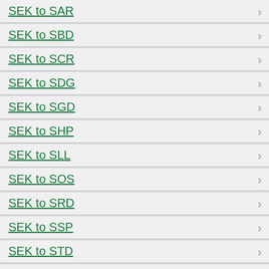SEK to SAR
SEK to SBD
SEK to SCR
SEK to SDG
SEK to SGD
SEK to SHP
SEK to SLL
SEK to SOS
SEK to SRD
SEK to SSP
SEK to STD
SEK to STN